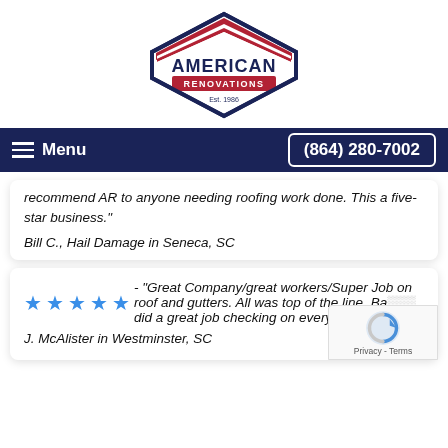[Figure (logo): American Renovations logo — diamond/hexagon shape with red and white stripes at top, dark navy blue outline, text AMERICAN in bold navy, RENOVATIONS in red banner, Est. 1986 below]
Menu   (864) 280-7002
recommend AR to anyone needing roofing work done. This a five-star business."
Bill C., Hail Damage in Seneca, SC
★★★★★ - "Great Company/great workers/Super Job on roof and gutters. All was top of the line. Ba... did a great job checking on everything."
J. McAlister in Westminster, SC